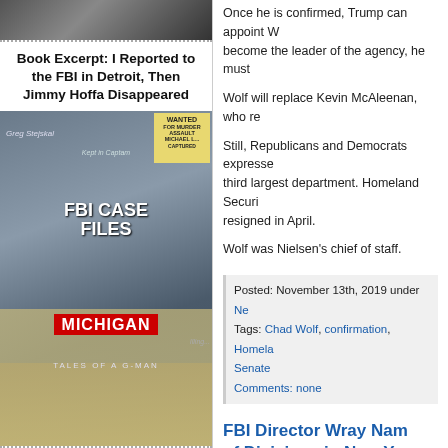[Figure (photo): Photo at top of left column, dark/shadowy figures]
Book Excerpt: I Reported to the FBI in Detroit, Then Jimmy Hoffa Disappeared
[Figure (photo): Book cover: FBI Case Files Michigan – Tales of a G-Man by Greg Stejskal, featuring vintage newspaper clippings, wanted poster, and state of Michigan silhouette]
Once he is confirmed, Trump can appoint W... become the leader of the agency, he must...
Wolf will replace Kevin McAleenan, who re...
Still, Republicans and Democrats expressed... third largest department. Homeland Securi... resigned in April.
Wolf was Nielsen's chief of staff.
Posted: November 13th, 2019 under Ne... Tags: Chad Wolf, confirmation, Homela... Senate
Comments: none
FBI Director Wray Nam... of Divisions in New Yo...
By Steve Neavling
ticklethewire.com